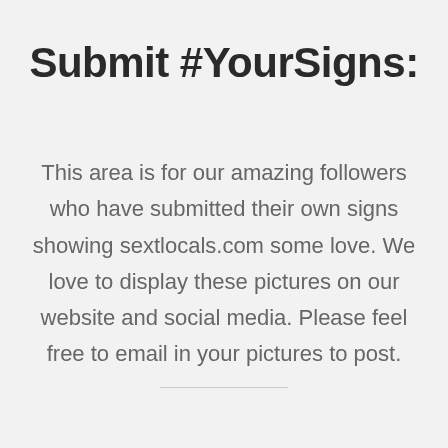Submit #YourSigns:
This area is for our amazing followers who have submitted their own signs showing sextlocals.com some love. We love to display these pictures on our website and social media. Please feel free to email in your pictures to post.